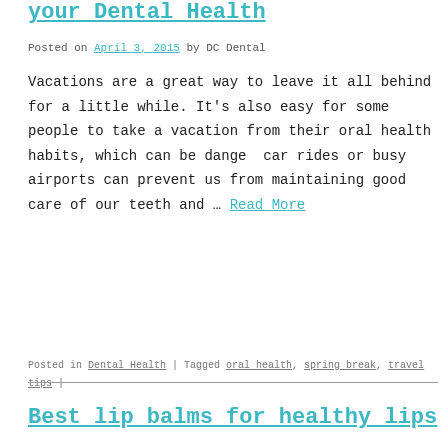your Dental Health
Posted on April 3, 2015 by DC Dental
Vacations are a great way to leave it all behind for a little while. It's also easy for some people to take a vacation from their oral health habits, which can be danger… car rides or busy airports can prevent us from maintaining good care of our teeth and … Read More
Patient's form
Posted in Dental Health | Tagged oral health, spring break, travel tips |
Best lip balms for healthy lips